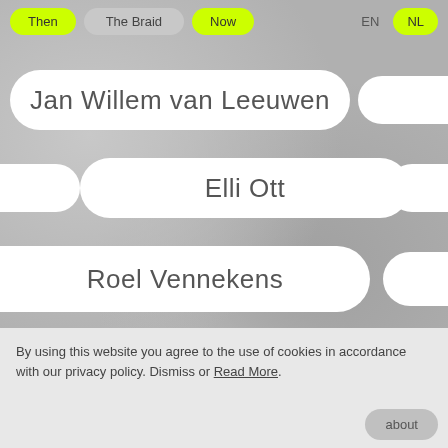Then | The Braid | Now | EN | NL
Jan Willem van Leeuwen
Elli Ott
Roel Vennekens
Sharon Broer
dismiss
By using this website you agree to the use of cookies in accordance with our privacy policy. Dismiss or Read More.
about